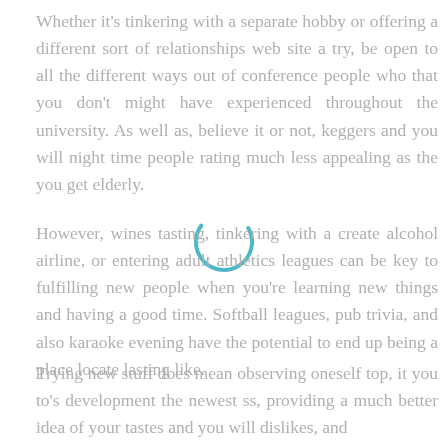Whether it's tinkering with a separate hobby or offering a different sort of relationships web site a try, be open to all the different ways out of conference people who that you don't might have experienced throughout the university. As well as, believe it or not, keggers and you will night time people rating much less appealing as the you get elderly.
[Figure (other): A circular loading spinner graphic, partially drawn arc in teal/blue color]
However, wines tasting, tinkering with a create alcohol airline, or entering adult athletics leagues can be key to fulfilling new people when you're learning new things and having a good time. Softball leagues, pub trivia, and also karaoke evening have the potential to end up being a place locate lasting like.
Trying new stuff does mean observing oneself top, it you to's development the newest ss, providing a much better idea of your tastes and you will dislikes, and